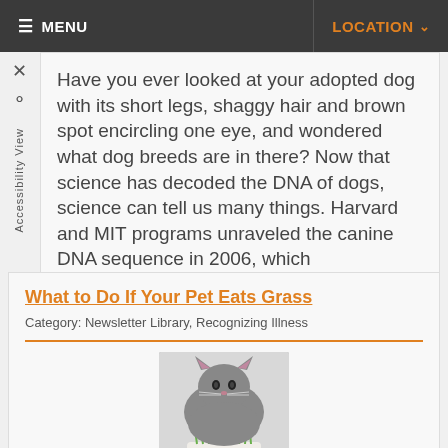≡ MENU   LOCATION ▾
Have you ever looked at your adopted dog with its short legs, shaggy hair and brown spot encircling one eye, and wondered what dog breeds are in there? Now that science has decoded the DNA of dogs, science can tell us many things. Harvard and MIT programs unraveled the canine DNA sequence in 2006, which
Read more
What to Do If Your Pet Eats Grass
Category: Newsletter Library, Recognizing Illness
[Figure (photo): A gray fluffy cat eating green grass from a white pot]